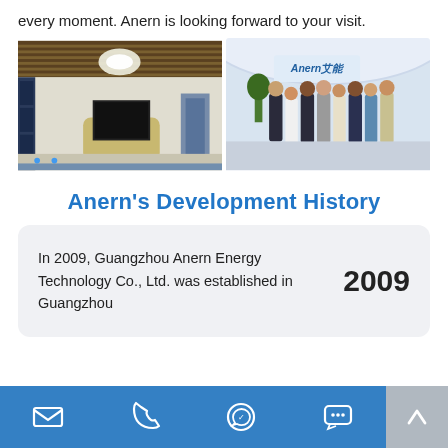every moment. Anern is looking forward to your visit.
[Figure (photo): Two photos side by side: left shows a modern solar product showroom interior with wood-slat ceiling and display panels; right shows a group photo of Anern staff and international visitors in the company lobby.]
Anern's Development History
In 2009, Guangzhou Anern Energy Technology Co., Ltd. was established in Guangzhou
Bottom navigation bar with email, phone, WhatsApp, chat icons and scroll-to-top button